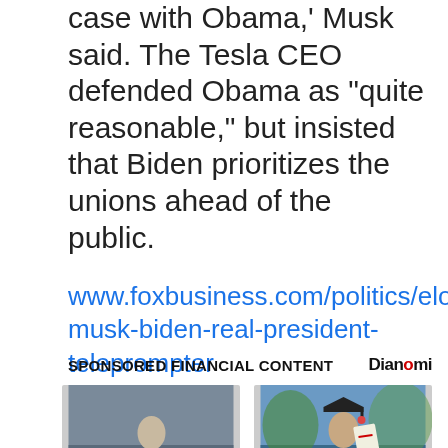case with Obama,' Musk said. The Tesla CEO defended Obama as 'quite reasonable,' but insisted that Biden prioritizes the unions ahead of the public.
www.foxbusiness.com/politics/elon-musk-biden-real-president-teleprompter
SPONSORED FINANCIAL CONTENT
[Figure (photo): Woman sitting on steps looking pensive]
Now Is The Time To Panic About Your 401K
Goldco
[Figure (photo): Older woman in graduation cap and gown holding diploma]
Baby Boomers Can Now Get An Affordable Online Degree (In 12 Months)
Nation